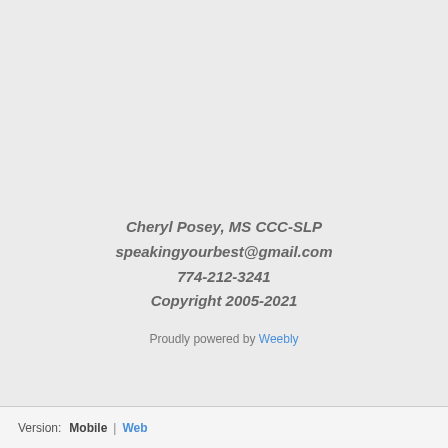Cheryl Posey, MS CCC-SLP
speakingyourbest@gmail.com
774-212-3241
Copyright 2005-2021
Proudly powered by Weebly
Version: Mobile | Web